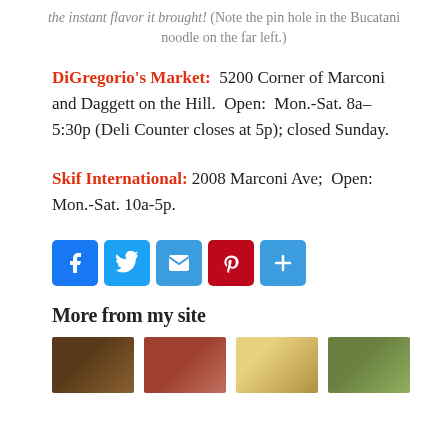the instant flavor it brought! (Note the pin hole in the Bucatani noodle on the far left.)
DiGregorio's Market:  5200 Corner of Marconi and Daggett on the Hill.  Open:  Mon.-Sat. 8a–5:30p (Deli Counter closes at 5p); closed Sunday.
Skif International: 2008 Marconi Ave;  Open:  Mon.-Sat. 10a-5p.
[Figure (infographic): Social sharing buttons: Facebook (blue), Twitter (blue), Email (blue), Pinterest (dark red), Share (blue)]
More from my site
[Figure (photo): Row of four small thumbnail images at the bottom of the page]